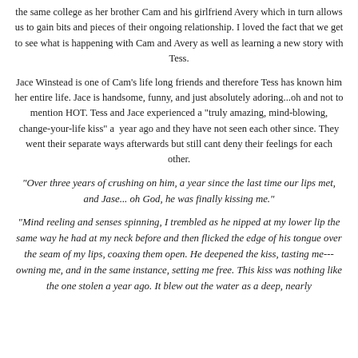the same college as her brother Cam and his girlfriend Avery which in turn allows us to gain bits and pieces of their ongoing relationship. I loved the fact that we get to see what is happening with Cam and Avery as well as learning a new story with Tess.
Jace Winstead is one of Cam's life long friends and therefore Tess has known him her entire life. Jace is handsome, funny, and just absolutely adoring...oh and not to mention HOT. Tess and Jace experienced a "truly amazing, mind-blowing, change-your-life kiss" a year ago and they have not seen each other since. They went their separate ways afterwards but still cant deny their feelings for each other.
"Over three years of crushing on him, a year since the last time our lips met, and Jase... oh God, he was finally kissing me."
"Mind reeling and senses spinning, I trembled as he nipped at my lower lip the same way he had at my neck before and then flicked the edge of his tongue over the seam of my lips, coaxing them open. He deepened the kiss, tasting me---owning me, and in the same instance, setting me free. This kiss was nothing like the one stolen a year ago. It blew out the water as a deep, nearly